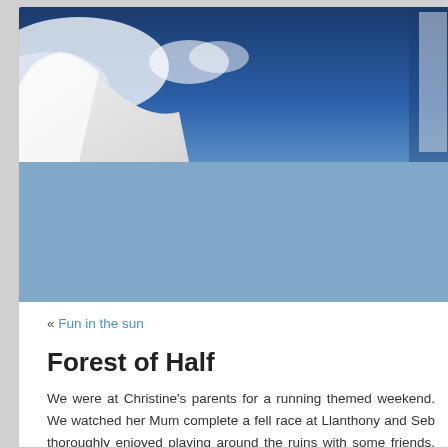[Figure (photo): Mountain/snow scene with blue sky and white snow-capped peak on the left, dark blue sky background, partial website header image cropped on right side]
« Fun in the sun
Forest of Half
We were at Christine's parents for a running themed weekend. We watched her Mum complete a fell race at Llanthony and Seb thoroughly enjoyed playing around the ruins with some friends, then splashing in a small stream crossed by the course, Seb and I ran in the Forest of Dean Trails Half Marathon. I had been on a training schedule for this race (a first for me) but got ambitious and soon succumbed to a knee injury.